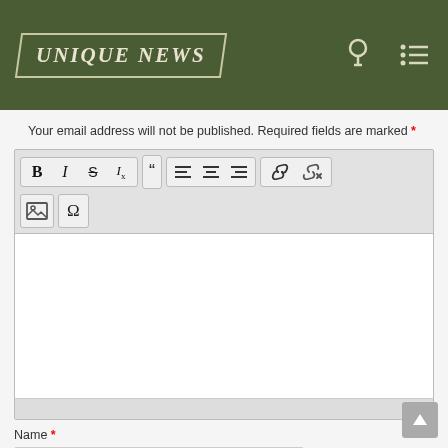[Figure (screenshot): Website header with dark olive green background, 'UNIQUE NEWS' logo in italic serif font inside a parallelogram border, and icons for search and menu on the right]
Your email address will not be published. Required fields are marked *
[Figure (screenshot): Rich text editor toolbar with buttons: Bold, Italic, Strikethrough, Clear formatting, Blockquote, Align left, Align center, Align right, Insert link, Remove link, Insert image, Insert special character. Below the toolbar is an empty white text area with a resize handle at the bottom.]
Name *
[Figure (screenshot): Empty text input field for Name]
Email *
[Figure (screenshot): Empty text input field for Email]